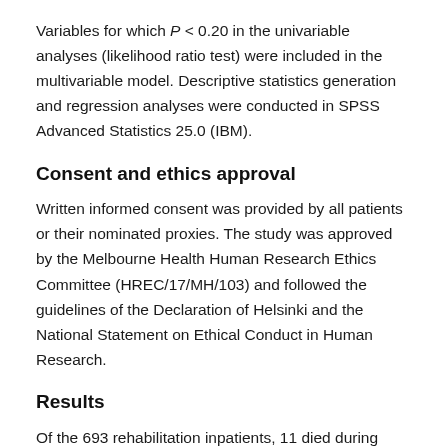Variables for which P < 0.20 in the univariable analyses (likelihood ratio test) were included in the multivariable model. Descriptive statistics generation and regression analyses were conducted in SPSS Advanced Statistics 25.0 (IBM).
Consent and ethics approval
Written informed consent was provided by all patients or their nominated proxies. The study was approved by the Melbourne Health Human Research Ethics Committee (HREC/17/MH/103) and followed the guidelines of the Declaration of Helsinki and the National Statement on Ethical Conduct in Human Research.
Results
Of the 693 rehabilitation inpatients, 11 died during geriatric rehabilitation and 64 within three months of discharge from rehabilitation; 618 patients were